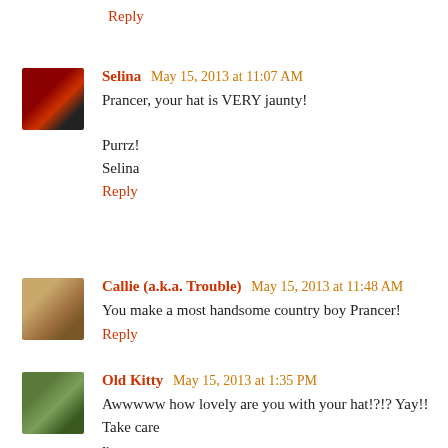Reply
Selina May 15, 2013 at 11:07 AM
Prancer, your hat is VERY jaunty!

Purrz!
Selina
Reply
Callie (a.k.a. Trouble) May 15, 2013 at 11:48 AM
You make a most handsome country boy Prancer!
Reply
Old Kitty May 15, 2013 at 1:35 PM
Awwwww how lovely are you with your hat!?!? Yay!! Take care
x